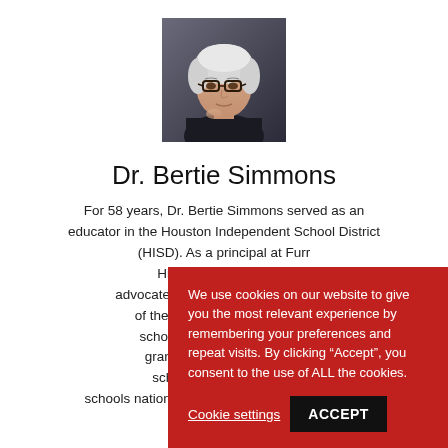[Figure (photo): Portrait photo of Dr. Bertie Simmons, an elderly woman with white hair and dark-rimmed glasses, wearing a dark outfit, posed with hand near chin against a dark background.]
Dr. Bertie Simmons
For 58 years, Dr. Bertie Simmons served as an educator in the Houston Independent School District (HISD). As a principal at Furr High School, she was an advocate and... of the late Ap... school in 20... grant through... school wa... schools nationwide for reimagining high school
We use cookies on our website to give you the most relevant experience by remembering your preferences and repeat visits. By clicking “Accept”, you consent to the use of ALL the cookies.
Cookie settings
ACCEPT